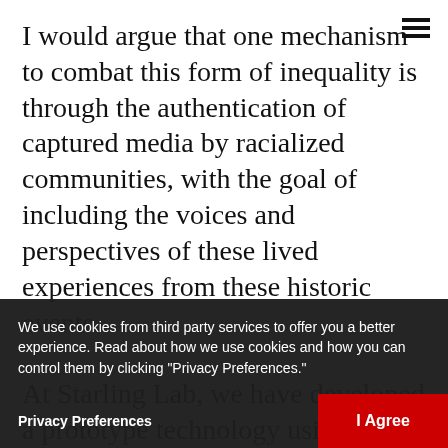I would argue that one mechanism to combat this form of inequality is through the authentication of captured media by racialized communities, with the goal of including the voices and perspectives of these lived experiences from these historic events.

At Starling Lab, we have developed a prototype technology using blockchain to authenticate imagery and video data. Our ability to verify the authenticity of captured media data is vital to piece together a discourse of truth by affirming witnesses' perspectives on global present or past events. At Starling Lab, we have developed a prototype technology for imagery and video data that prevents the introduction, alteration, and perpetuation of a form of inequality by disproportionately which disproportionately
We use cookies from third party services to offer you a better experience. Read about how we use cookies and how you can control them by clicking "Privacy Preferences."
Privacy Preferences
I Agree